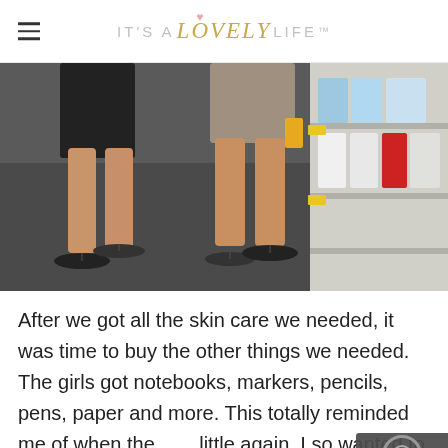IT'S A Lovely LIFE
[Figure (photo): Two people (lower half visible) standing in a store aisle wearing flip-flops and shorts, store shelves with products visible on the right side]
After we got all the skin care we needed, it was time to buy the other things we needed. The girls got notebooks, markers, pencils, pens, paper and more. This totally reminded me of when the girls were little again. I so wanted to buy them crayons too...